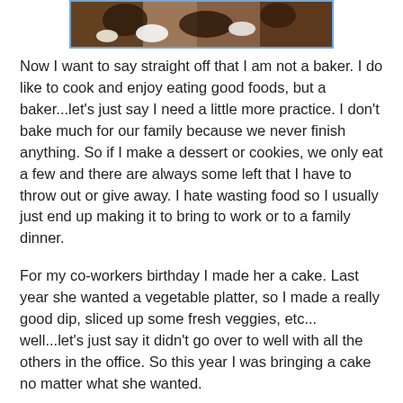[Figure (photo): Photo of a chocolate cake or dessert with dark brown and white decorations, partially visible at top of page]
Now I want to say straight off that I am not a baker. I do like to cook and enjoy eating good foods, but a baker...let's just say I need a little more practice. I don't bake much for our family because we never finish anything. So if I make a dessert or cookies, we only eat a few and there are always some left that I have to throw out or give away. I hate wasting food so I usually just end up making it to bring to work or to a family dinner.
For my co-workers birthday I made her a cake. Last year she wanted a vegetable platter, so I made a really good dip, sliced up some fresh veggies, etc... well...let's just say it didn't go over to well with all the others in the office. So this year I was bringing a cake no matter what she wanted.
My friend Kristy has a wonderful blog My Little Space , now if you want to see some great baking make sure you check it out! She is so creative with new flavors and beautiful designs you really have to see it for yourself. So I thought I would be ambitious and try one of her recipes Chocolate Matcha